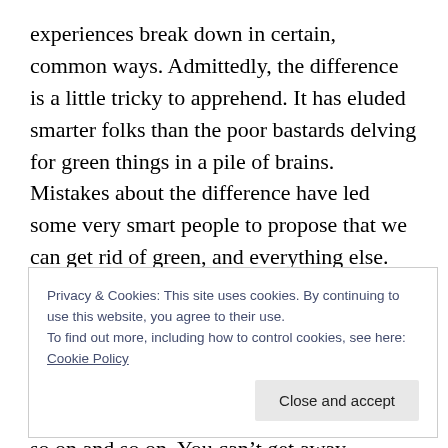experiences break down in certain, common ways. Admittedly, the difference is a little tricky to apprehend. It has eluded smarter folks than the poor bastards delving for green things in a pile of brains. Mistakes about the difference have led some very smart people to propose that we can get rid of green, and everything else. Instead of saying “green”, we can just hold up a balance sheet with all the retinal pigments, neurons and photons on it. But then we’ll need a balance sheet for the neurons, photons and retinal pigments, and so on and so on. You can’t get away without primarily localizing things.
Privacy & Cookies: This site uses cookies. By continuing to use this website, you agree to their use.
To find out more, including how to control cookies, see here: Cookie Policy